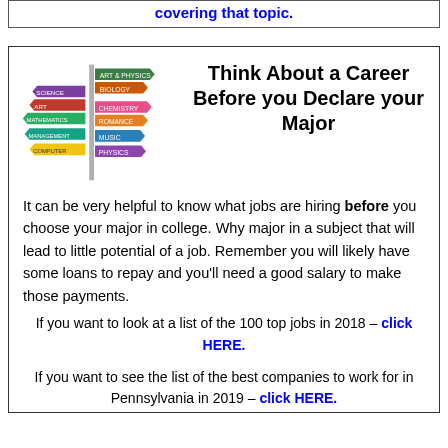covering that topic.
Think About a Career Before you Declare your Major
[Figure (illustration): Colorful directional signpost with multiple subject signs including Mathematics, Management, Chemistry, Romance, Physics, Art & Physics, Biology, Computer Science, etc.]
It can be very helpful to know what jobs are hiring before you choose your major in college. Why major in a subject that will lead to little potential of a job. Remember you will likely have some loans to repay and you'll need a good salary to make those payments.
If you want to look at a list of the 100 top jobs in 2018 – click HERE.
If you want to see the list of the best companies to work for in Pennsylvania in 2019 – click HERE.